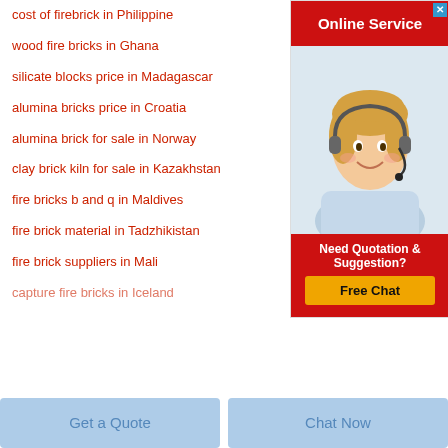cost of firebrick in Philippine
wood fire bricks in Ghana
silicate blocks price in Madagascar
alumina bricks price in Croatia
alumina brick for sale in Norway
clay brick kiln for sale in Kazakhstan
fire bricks b and q in Maldives
fire brick material in Tadzhikistan
fire brick suppliers in Mali
capture fire bricks in Iceland
[Figure (illustration): Online Service advertisement banner with a smiling woman wearing a headset, red background header 'Online Service', red footer 'Need Quotation & Suggestion?' with yellow 'Free Chat' button]
Get a Quote
Chat Now